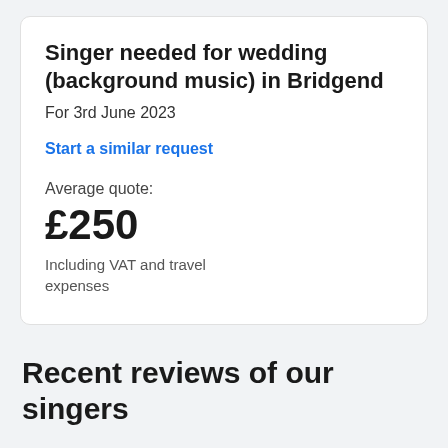Singer needed for wedding (background music) in Bridgend
For 3rd June 2023
Start a similar request
Average quote:
£250
Including VAT and travel expenses
Recent reviews of our singers